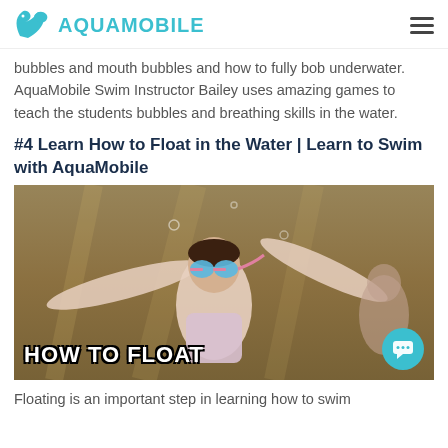AQUAMOBILE
bubbles and mouth bubbles and how to fully bob underwater. AquaMobile Swim Instructor Bailey uses amazing games to teach the students bubbles and breathing skills in the water.
#4 Learn How to Float in the Water | Learn to Swim with AquaMobile
[Figure (photo): Underwater photo of a girl with pink goggles floating in a pool with arms raised, text overlay reads 'HOW TO FLOAT']
Floating is an important step in learning how to swim